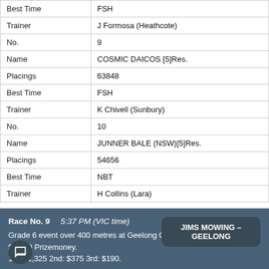| Best Time | FSH |
| Trainer | J Formosa (Heathcote) |
| No. | 9 |
| Name | COSMIC DAICOS [5]Res. |
| Placings | 63848 |
| Best Time | FSH |
| Trainer | K Chivell (Sunbury) |
| No. | 10 |
| Name | JUNNER BALE (NSW)[5]Res. |
| Placings | 54656 |
| Best Time | NBT |
| Trainer | H Collins (Lara) |
Race No. 9    5:37 PM (VIC time)
Grade 6 event over 400 metres at Geelong Of $1,890 Prizemoney.
1st: $1,325 2nd: $375 3rd: $190.
JIMS MOWING – GEELONG